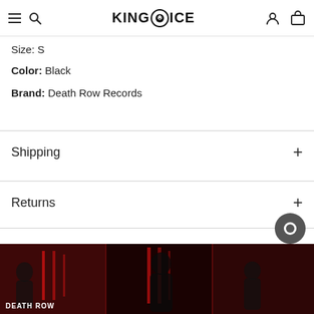King Ice — Navigation header with hamburger menu, search, logo, account icon, cart icon
Size: S
Color: Black
Brand: Death Row Records
Shipping
Returns
FAQs
[Figure (photo): Dark red promotional photo strip showing three figures/silhouettes of musicians against red neon-lit background, with 'DEATH ROW' text visible in bottom left panel]